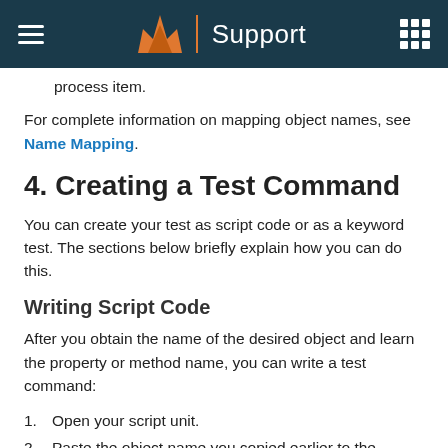Support
process item.
For complete information on mapping object names, see Name Mapping.
4. Creating a Test Command
You can create your test as script code or as a keyword test. The sections below briefly explain how you can do this.
Writing Script Code
After you obtain the name of the desired object and learn the property or method name, you can write a test command:
1. Open your script unit.
2. Paste the object name you copied earlier to the